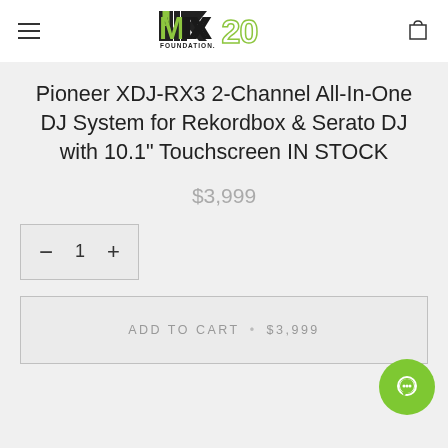MIX FOUNDATION 20 (logo)
Pioneer XDJ-RX3 2-Channel All-In-One DJ System for Rekordbox & Serato DJ with 10.1" Touchscreen IN STOCK
$3,999
− 1 +
ADD TO CART • $3,999